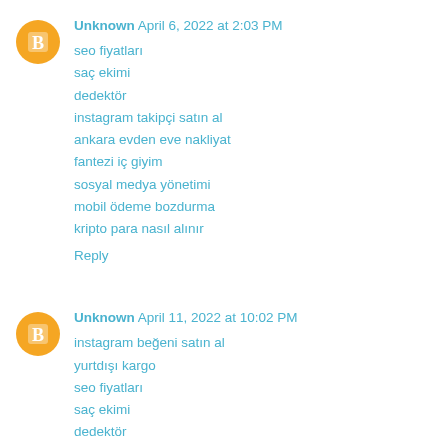Unknown  April 6, 2022 at 2:03 PM
seo fiyatları
saç ekimi
dedektör
instagram takipçi satın al
ankara evden eve nakliyat
fantezi iç giyim
sosyal medya yönetimi
mobil ödeme bozdurma
kripto para nasıl alınır
Reply
Unknown  April 11, 2022 at 10:02 PM
instagram beğeni satın al
yurtdışı kargo
seo fiyatları
saç ekimi
dedektör
fantazi iç giyim